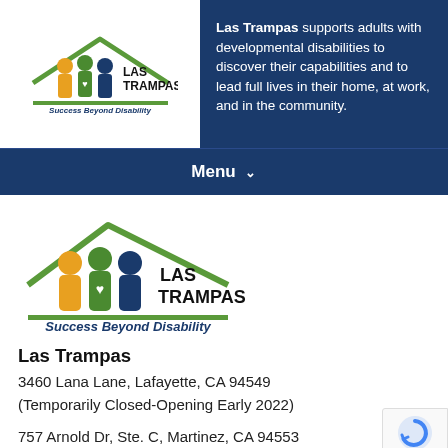[Figure (logo): Las Trampas logo with three figures under a house roof and 'Success Beyond Disability' tagline in header]
Las Trampas supports adults with developmental disabilities to discover their capabilities and to lead full lives in their home, at work, and in the community.
Menu ∨
[Figure (logo): Las Trampas main logo: three colored figures (yellow, green, blue) under a green house roof with 'LAS TRAMPAS' text and 'Success Beyond Disability' tagline]
Las Trampas
3460 Lana Lane, Lafayette, CA 94549
(Temporarily Closed-Opening Early 2022)
757 Arnold Dr, Ste. C, Martinez, CA 94553
(Temporary Location)